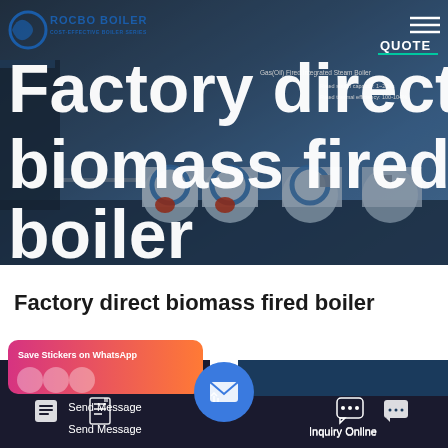[Figure (photo): Hero banner showing industrial biomass fired boilers in a factory/outdoor setting with blue-grey tones. Rocbo Boiler logo visible in top-left corner. Navigation elements and QUOTE button in top-right. Large white bold title text 'Factory direct biomass fired boiler' overlaid on image.]
Factory direct biomass fired boiler
[Figure (infographic): Bottom navigation bar on dark background. Left section: 'Save Stickers on WhatsApp' card with pink-orange gradient and circular avatar icons. Left button: Send Message with document/message icon. Center: circular blue email/message icon button. Right button: Inquiry Online with chat icon. Dark navy/dark blue background.]